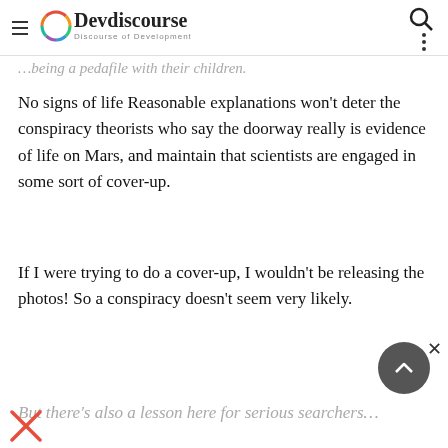Devdiscourse — Discourse of Development
…being a pedafile with their children.
No signs of life Reasonable explanations won't deter the conspiracy theorists who say the doorway really is evidence of life on Mars, and maintain that scientists are engaged in some sort of cover-up.
If I were trying to do a cover-up, I wouldn't be releasing the photos! So a conspiracy doesn't seem very likely.
But there's also a lesson here for serious searchers…